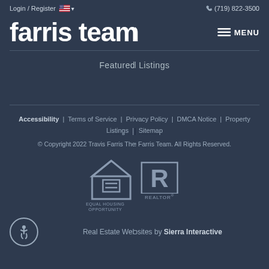Login / Register  🇺🇸 ▾    (719) 822-3500
farris team
Featured Listings
Accessibility  |  Terms of Service  |  Privacy Policy  |  DMCA Notice  |  Property Listings  |  Sitemap
© Copyright 2022 Travis Farris The Farris Team. All Rights Reserved.
[Figure (logo): Equal Housing Opportunity logo and REALTOR® logo side by side]
Real Estate Websites by Sierra Interactive